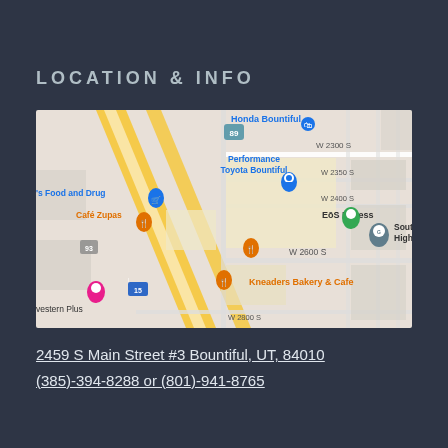LOCATION & INFO
[Figure (map): Google Maps screenshot showing area around 2459 S Main Street, Bountiful, UT 84010. Visible landmarks include Honda Bountiful, Performance Toyota Bountiful, EōS Fitness, Café Zupas, Kneaders Bakery & Cafe, 's Food and Drug, South High school, and Western Plus hotel. Streets visible include W 2300 S, W 2350 S, W 2400 S, W 2600 S, W 2800 S, and highways 89, 93, and I-15.]
2459 S Main Street #3 Bountiful, UT, 84010
(385)-394-8288 or (801)-941-8765